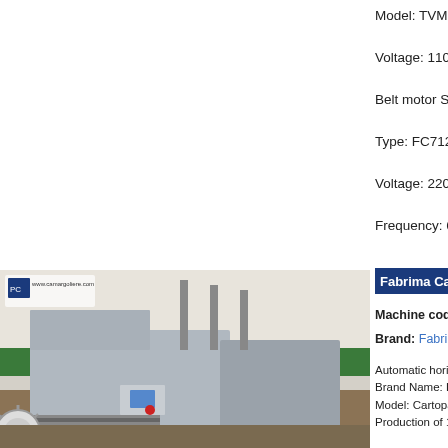Model: TVM.
Voltage: 110 V.
Belt motor Siti.
Type: FC712-4.
Voltage: 220 / 38
Frequency: 60 H
[Figure (photo): Industrial packaging machine (cartoner) on factory floor, grey metal casing, conveyor belts, www.camargoliere.com watermark visible]
Fabrima Cart
Machine code:
Brand: Fabrima
Automatic horizo
Brand Name: Fa
Model: Cartopac
Production of 16